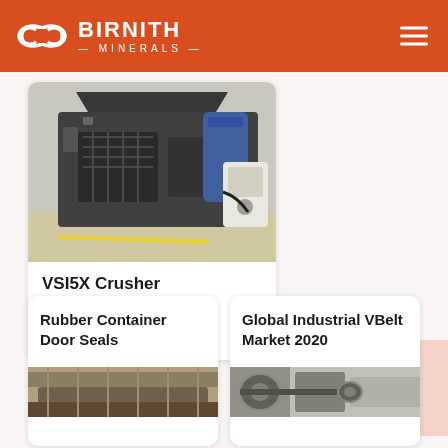BIRNITH MINERALS
[Figure (photo): VSI5X industrial crusher machine in a factory setting, with hydraulic unit beside it]
VSI5X Crusher
VSI5X crusher (the latest vertical shaft...
Rubber Container Door Seals
[Figure (photo): Rubber container door seals product image]
Global Industrial VBelt Market 2020
[Figure (photo): Industrial V-belt machinery image]